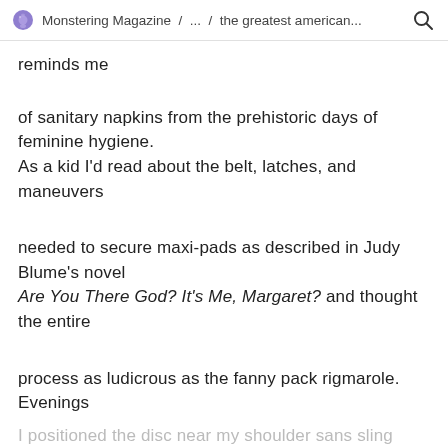Monstering Magazine / ... / the greatest american...
reminds me
of sanitary napkins from the prehistoric days of feminine hygiene.
As a kid I'd read about the belt, latches, and maneuvers
needed to secure maxi-pads as described in Judy Blume's novel
Are You There God? It's Me, Margaret? and thought the entire
process as ludicrous as the fanny pack rigmarole. Evenings
I positioned the disc near my shoulder sans sling